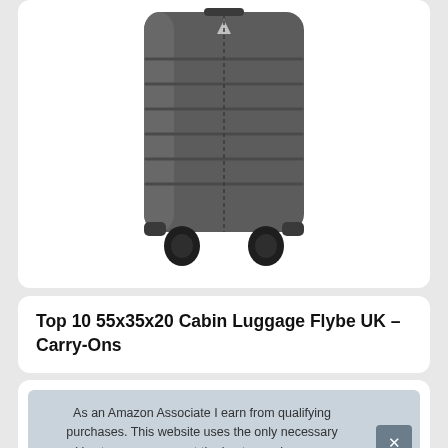[Figure (photo): Dark grey hardshell carry-on suitcase with four spinner wheels, horizontal ribbed texture, and a small logo at the top center. White background.]
Top 10 55x35x20 Cabin Luggage Flybe UK – Carry-Ons
As an Amazon Associate I earn from qualifying purchases. This website uses the only necessary cookies to ensure you get the best experience on our website. More information